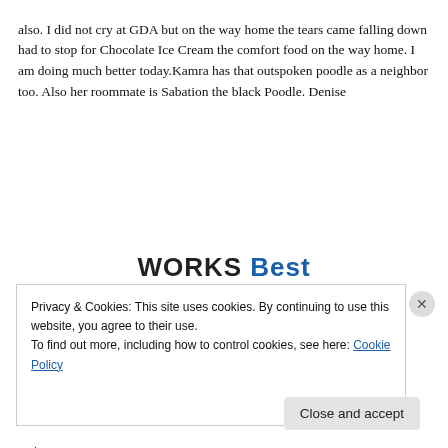also. I did not cry at GDA but on the way home the tears came falling down had to stop for Chocolate Ice Cream the comfort food on the way home. I am doing much better today.Kamra has that outspoken poodle as a neighbor too. Also her roommate is Sabation the black Poodle. Denise
↳ Reply
[Figure (screenshot): Partial banner text reading 'WORKS Best' where 'WORKS' is in dark/black bold and 'Best' is in blue bold]
Privacy & Cookies: This site uses cookies. By continuing to use this website, you agree to their use.
To find out more, including how to control cookies, see here: Cookie Policy
Close and accept